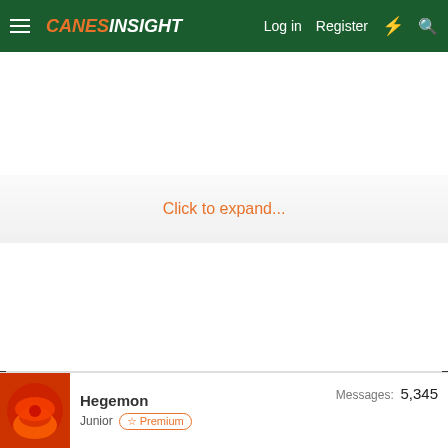CanesInsight — Log in | Register
Click to expand...
Hegemon
Junior  ★ Premium
Messages: 5,345